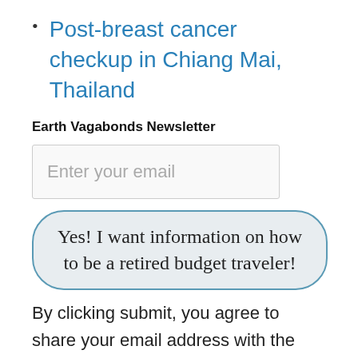Post-breast cancer checkup in Chiang Mai, Thailand
Earth Vagabonds Newsletter
Enter your email
Yes! I want information on how to be a retired budget traveler!
By clicking submit, you agree to share your email address with the site owner and Mailchimp to receive marketing, updates, and other emails from the site owner. Use the unsubscribe link in the